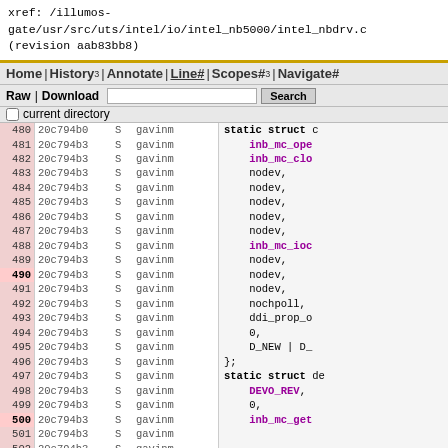xref: /illumos-gate/usr/src/uts/intel/io/intel_nb5000/intel_nbdrv.c (revision aab83bb8)
Home | History3 | Annotate | Line# | Scopes#3 | Navigate#
Raw | Download  [search box]  Search  current directory
| line | revision | S | author |
| --- | --- | --- | --- |
| 480 | 20c794b0 | S | gavinm |
| 481 | 20c794b3 | S | gavinm |
| 482 | 20c794b3 | S | gavinm |
| 483 | 20c794b3 | S | gavinm |
| 484 | 20c794b3 | S | gavinm |
| 485 | 20c794b3 | S | gavinm |
| 486 | 20c794b3 | S | gavinm |
| 487 | 20c794b3 | S | gavinm |
| 488 | 20c794b3 | S | gavinm |
| 489 | 20c794b3 | S | gavinm |
| 490 | 20c794b3 | S | gavinm |
| 491 | 20c794b3 | S | gavinm |
| 492 | 20c794b3 | S | gavinm |
| 493 | 20c794b3 | S | gavinm |
| 494 | 20c794b3 | S | gavinm |
| 495 | 20c794b3 | S | gavinm |
| 496 | 20c794b3 | S | gavinm |
| 497 | 20c794b3 | S | gavinm |
| 498 | 20c794b3 | S | gavinm |
| 499 | 20c794b3 | S | gavinm |
| 500 | 20c794b3 | S | gavinm |
| 501 | 20c794b3 | S | gavinm |
| 502 | 20c794b3 | S | gavinm |
| 503 | 20c794b3 | S | gavinm |
static struct cb_ops { inb_mc_ope inb_mc_clo nodev, nodev, nodev, nodev, nodev, inb_mc_ioc nodev, nodev, nodev, nochpoll, ddi_prop_o 0, D_NEW | D_ }; static struct de DEVO_REV, 0, inb_mc_get